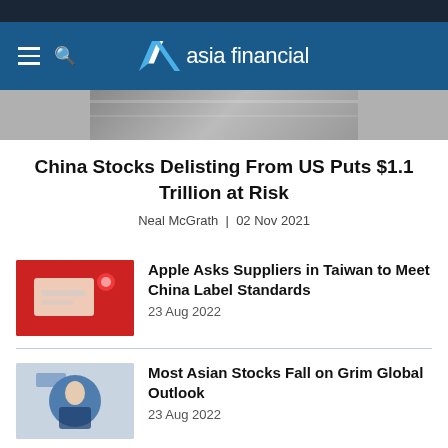asia financial
[Figure (photo): Partial hero image, appears to show a US flag in black and white]
China Stocks Delisting From US Puts $1.1 Trillion at Risk
Neal McGrath | 02 Nov 2021
Apple Asks Suppliers in Taiwan to Meet China Label Standards — 23 Aug 2022
Most Asian Stocks Fall on Grim Global Outlook — 23 Aug 2022
China Firms Step up Capital Raising in Europe – China Daily